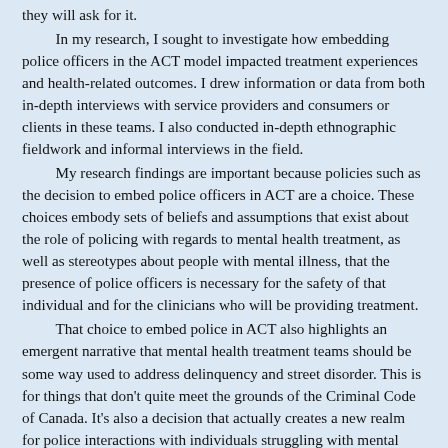they will ask for it.
In my research, I sought to investigate how embedding police officers in the ACT model impacted treatment experiences and health-related outcomes. I drew information or data from both in-depth interviews with service providers and consumers or clients in these teams. I also conducted in-depth ethnographic fieldwork and informal interviews in the field.
My research findings are important because policies such as the decision to embed police officers in ACT are a choice. These choices embody sets of beliefs and assumptions that exist about the role of policing with regards to mental health treatment, as well as stereotypes about people with mental illness, that the presence of police officers is necessary for the safety of that individual and for the clinicians who will be providing treatment.
That choice to embed police in ACT also highlights an emergent narrative that mental health treatment teams should be some way used to address delinquency and street disorder. This is for things that don't quite meet the grounds of the Criminal Code of Canada. It's also a decision that actually creates a new realm for police interactions with individuals struggling with mental illness that did not exist previously.
The ACT model itself, like I said, is very old. It's existed since basically the late 1970s around the world